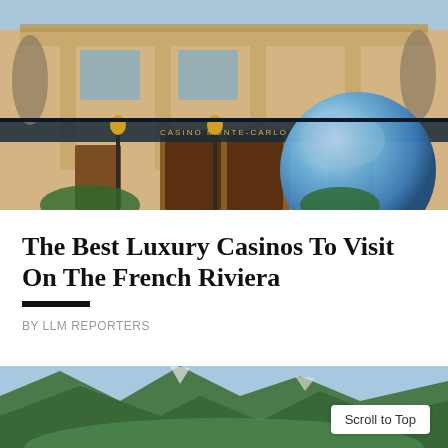[Figure (photo): Exterior of Casino de Monte-Carlo with ornate beige facade, decorative ironwork, golden lamp posts, lush greenery, and a reflective silver sphere sculpture in the upper right corner showing a cityscape reflection.]
The Best Luxury Casinos To Visit On The French Riviera
BY LLM REPORTERS
[Figure (photo): Aerial or landscape view of green mountains with valleys, partial view cut off at bottom of page.]